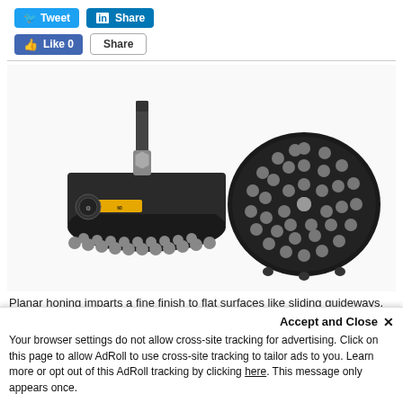[Figure (other): Social media sharing buttons: Tweet button (blue with Twitter icon), LinkedIn Share button (blue), Facebook Like 0 button (blue), Share button (white with border)]
[Figure (photo): Two Flex-Hone abrasive disc/brush tools shown from different angles – one with a mounting shank on top showing the side profile with grey abrasive balls around the rim, another showing the top view with many grey abrasive ball tips covering the entire face. Both have a dark body with a yellow label stripe.]
Planar honing imparts a fine finish to flat surfaces like sliding guideways, milled or turned faces, and many other applications.
Accept and Close ×
Your browser settings do not allow cross-site tracking for advertising. Click on this page to allow AdRoll to use cross-site tracking to tailor ads to you. Learn more or opt out of this AdRoll tracking by clicking here. This message only appears once.